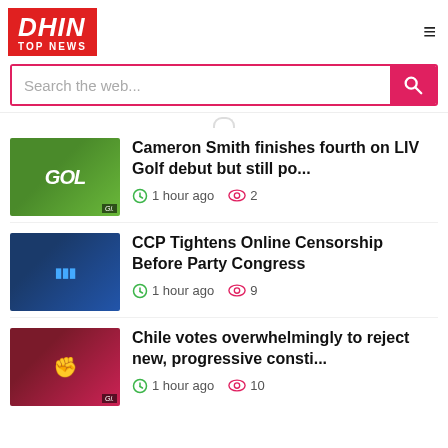DHIN TOP NEWS
Search the web...
Cameron Smith finishes fourth on LIV Golf debut but still po... — 1 hour ago · 2 views
CCP Tightens Online Censorship Before Party Congress — 1 hour ago · 9 views
Chile votes overwhelmingly to reject new, progressive consti... — 1 hour ago · 10 views